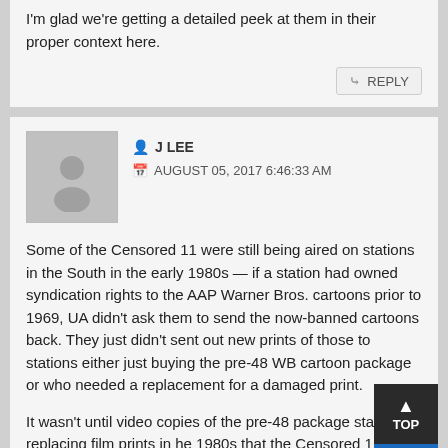I'm glad we're getting a detailed peek at them in their proper context here.
J LEE
AUGUST 05, 2017 6:46:33 AM
Some of the Censored 11 were still being aired on stations in the South in the early 1980s — if a station had owned syndication rights to the AAP Warner Bros. cartoons prior to 1969, UA didn't ask them to send the now-banned cartoons back. They just didn't sent out new prints of those to stations either just buying the pre-48 WB cartoon package or who needed a replacement for a damaged print.
It wasn't until video copies of the pre-48 package started replacing film prints in he 1980s that the Censored 11 finally fully disappeared from TV (in contrast, some stations, like WNEW in New York, pulled not only the Censored 11 well before 1969, they also balked at airing many of the most overt World War II themed cartoons as well)>